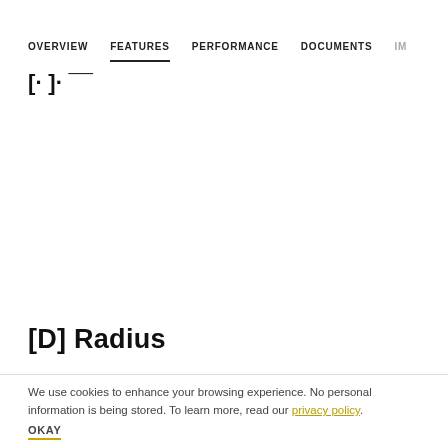OVERVIEW  FEATURES  PERFORMANCE  DOCUMENTS  IM...
[partial title text - cropped]
[D] Radius
We use cookies to enhance your browsing experience. No personal information is being stored. To learn more, read our privacy policy.
OKAY